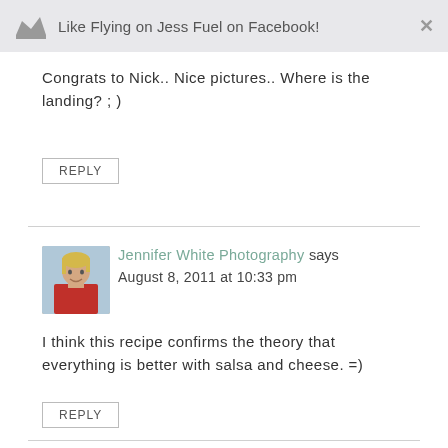Like Flying on Jess Fuel on Facebook!
Congrats to Nick.. Nice pictures.. Where is the landing? ; )
REPLY
Jennifer White Photography says
August 8, 2011 at 10:33 pm
I think this recipe confirms the theory that everything is better with salsa and cheese. =)
REPLY